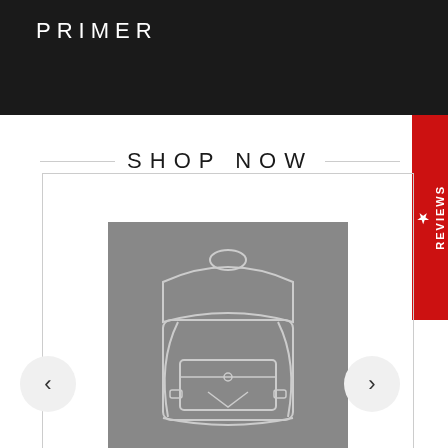PRIMER
SHOP NOW
[Figure (illustration): Outline illustration of a backpack on a gray background, shown in a product carousel with left and right navigation arrows]
★ REVIEWS